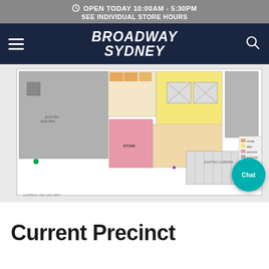OPEN TODAY 10:00AM - 5:30PM
SEE INDIVIDUAL STORE HOURS
[Figure (logo): Broadway Sydney logo with hamburger menu and search icon on dark navy navigation bar]
[Figure (map): Broadway Sydney shopping centre floor plan / precinct map showing coloured store areas including pink, orange/yellow, grey zones with parking area and legend]
Current Precinct